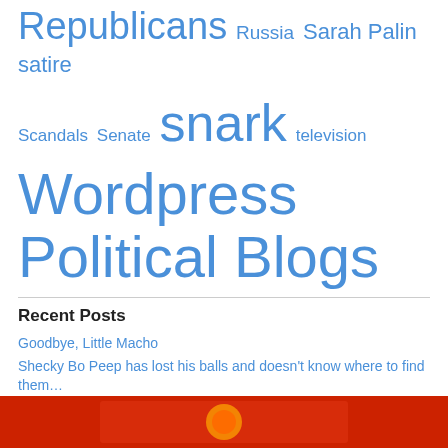Republicans  Russia  Sarah Palin  satire
Scandals  Senate  snark  television
Wordpress Political Blogs
Recent Posts
Goodbye, Little Macho
Shecky Bo Peep has lost his balls and doesn't know where to find them…
Gaetz's future relies on a wingman and a prayer
And Justice for One
Set those Jewish lasers on STUN
[Figure (photo): Red banner/image strip at bottom of page]